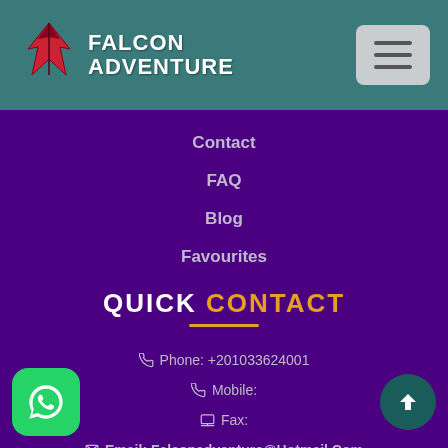[Figure (logo): Falcon Adventure logo with falcon bird icon and text FALCON ADVENTURE on teal header background]
Contact
FAQ
Blog
Favourites
QUICK CONTACT
Phone: +201033624001
Mobile:
Fax:
Email: Falconadventure@Hotmail.Com
Secure payments with